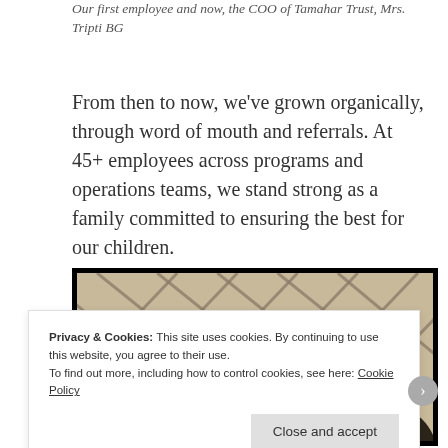Our first employee and now, the COO of Tamahar Trust, Mrs. Tripti BG
From then to now, we’ve grown organically, through word of mouth and referrals. At 45+ employees across programs and operations teams, we stand strong as a family committed to ensuring the best for our children.
[Figure (photo): Photo showing a child or person viewed through a window with diagonal metal bars/grille, warm background light, partial view of a dark-haired head in bottom right corner.]
Privacy & Cookies: This site uses cookies. By continuing to use this website, you agree to their use.
To find out more, including how to control cookies, see here: Cookie Policy
Close and accept